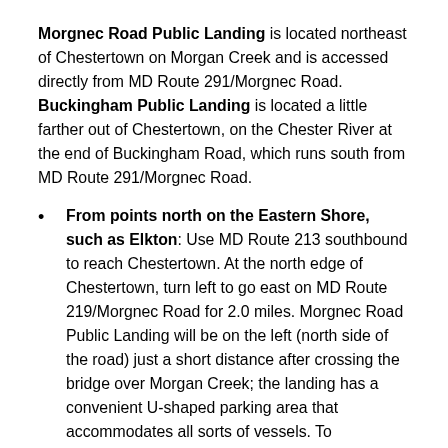Morgnec Road Public Landing is located northeast of Chestertown on Morgan Creek and is accessed directly from MD Route 291/Morgnec Road. Buckingham Public Landing is located a little farther out of Chestertown, on the Chester River at the end of Buckingham Road, which runs south from MD Route 291/Morgnec Road.
From points north on the Eastern Shore, such as Elkton: Use MD Route 213 southbound to reach Chestertown. At the north edge of Chestertown, turn left to go east on MD Route 219/Morgnec Road for 2.0 miles. Morgnec Road Public Landing will be on the left (north side of the road) just a short distance after crossing the bridge over Morgan Creek; the landing has a convenient U-shaped parking area that accommodates all sorts of vessels. To...